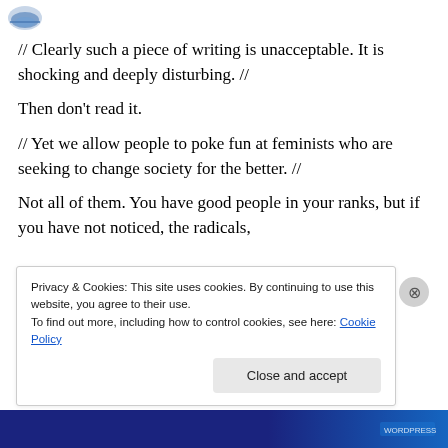[Figure (logo): Small blue website logo/icon in top left corner]
// Clearly such a piece of writing is unacceptable. It is shocking and deeply disturbing. //
Then don't read it.
// Yet we allow people to poke fun at feminists who are seeking to change society for the better. //
Not all of them. You have good people in your ranks, but if you have not noticed, the radicals,
Privacy & Cookies: This site uses cookies. By continuing to use this website, you agree to their use.
To find out more, including how to control cookies, see here: Cookie Policy